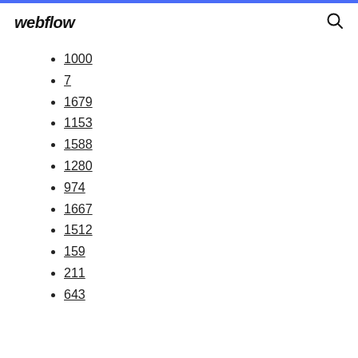webflow
1000
7
1679
1153
1588
1280
974
1667
1512
159
211
643